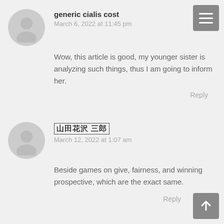[Figure (illustration): Hamburger menu button (grey square with three white horizontal lines) in top right corner]
generic cialis cost
March 6, 2022 at 11:45 pm
Wow, this article is good, my younger sister is analyzing such things, thus I am going to inform her.
Reply
?????? ????
March 12, 2022 at 1:07 am
Beside games on give, fairness, and winning prospective, which are the exact same.
Reply
[Figure (illustration): Scroll-to-top button (grey square with white upward arrow) in bottom right corner]